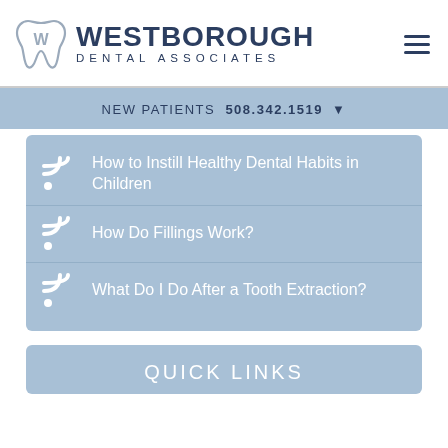[Figure (logo): Westborough Dental Associates logo with tooth icon and text]
NEW PATIENTS  508.342.1519
How to Instill Healthy Dental Habits in Children
How Do Fillings Work?
What Do I Do After a Tooth Extraction?
QUICK LINKS